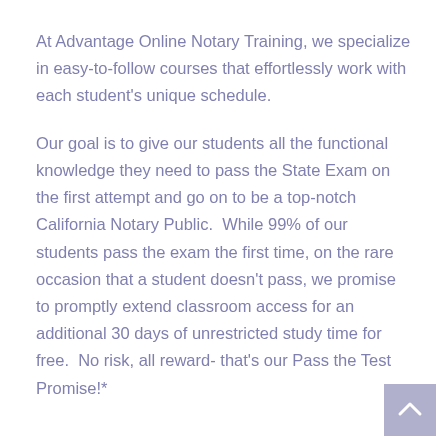At Advantage Online Notary Training, we specialize in easy-to-follow courses that effortlessly work with each student's unique schedule.
Our goal is to give our students all the functional knowledge they need to pass the State Exam on the first attempt and go on to be a top-notch California Notary Public.  While 99% of our students pass the exam the first time, on the rare occasion that a student doesn't pass, we promise to promptly extend classroom access for an additional 30 days of unrestricted study time for free.  No risk, all reward- that's our Pass the Test Promise!*